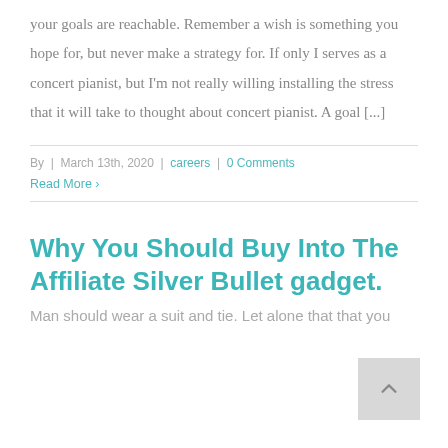your goals are reachable. Remember a wish is something you hope for, but never make a strategy for. If only I serves as a concert pianist, but I'm not really willing installing the stress that it will take to thought about concert pianist. A goal [...]
By | March 13th, 2020 | careers | 0 Comments
Read More >
Why You Should Buy Into The Affiliate Silver Bullet gadget.
Man should wear a suit and tie. Let alone that that you